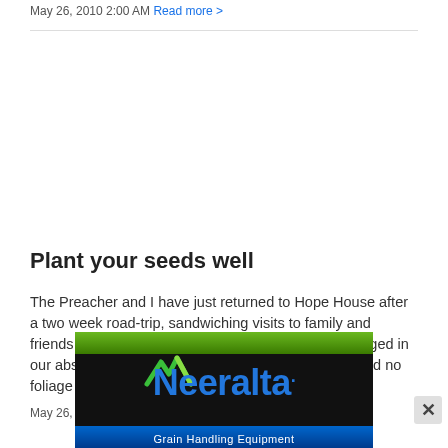May 26, 2010 2:00 AM Read more >
Plant your seeds well
The Preacher and I have just returned to Hope House after a two week road-trip, sandwiching visits to family and friends between speaking engagements.Things changed in our absence. The forest of maples in our side yard had no foliage when we left.
May 26, 2010 2:00 AM Read more...
[Figure (logo): Neeralta Grain Handling Equipment advertisement banner with green top stripe, black background, blue bottom stripe, and Neeralta logo in blue text with stylized checkmark logo mark]